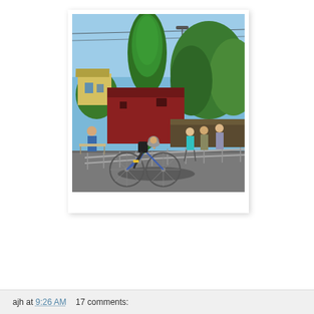[Figure (photo): Outdoor cycling race scene. A cyclist in a helmet and green/black jersey rides a blue road bicycle past metal crowd-control barriers on an asphalt road. Several spectators stand behind the barriers. Background shows a large evergreen tree, a red barn building, and blue sky with power lines overhead.]
ajh at 9:26 AM    17 comments: